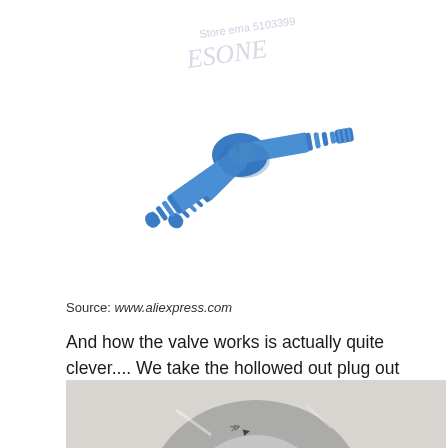[Figure (photo): Blue plastic Y/T-shaped hose barb connector fitting, angled view showing barbed ends, with a faint watermark overlay reading 'Store ema 5103399 ESONE']
Source:  www.aliexpress.com
And how the valve works is actually quite clever.... We take the hollowed out plug out and throw it away.
[Figure (photo): Partial view of a circular metal valve or fitting component on a gray background, shown from above at an angle]